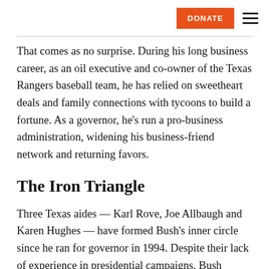DONATE [menu]
That comes as no surprise. During his long business career, as an oil executive and co-owner of the Texas Rangers baseball team, he has relied on sweetheart deals and family connections with tycoons to build a fortune. As a governor, he's run a pro-business administration, widening his business-friend network and returning favors.
The Iron Triangle
Three Texas aides — Karl Rove, Joe Allbaugh and Karen Hughes — have formed Bush's inner circle since he ran for governor in 1994. Despite their lack of experience in presidential campaigns, Bush